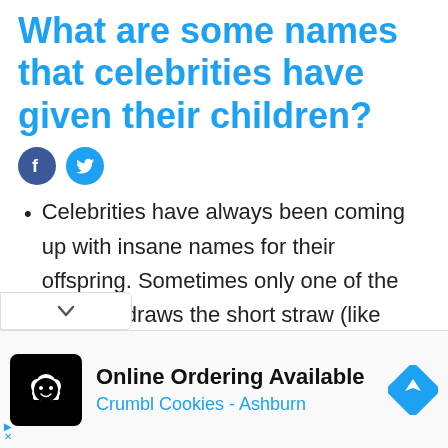What are some names that celebrities have given their children?
[Figure (other): Facebook and Twitter social share icons (circular buttons, blue and light blue)]
Celebrities have always been coming up with insane names for their offspring. Sometimes only one of the children draws the short straw (like Mariah Carey and Nick Cannon's twin boy Moroccan or Grimes and Elon Musk's son X Æ A-Xii ), but, more often than not, all siblings
[Figure (other): Advertisement: Crumbl Cookies - Ashburn, Online Ordering Available, with logo and navigation icon]